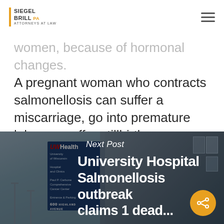Siegel Brill PA – Attorneys at Law
women, because of hormonal changes. A pregnant woman who contracts salmonellosis can suffer a miscarriage, go into premature labor, or suffer stillbirth.
[Figure (photo): UW Health University of Wisconsin Hospital and Clinics sign in foreground, modern glass hospital building in background. Overlay text reads: Next Post – University Hospital Salmonellosis outbreak claims 1 dead...]
Next Post – University Hospital [Salmonellosis outbreak...]